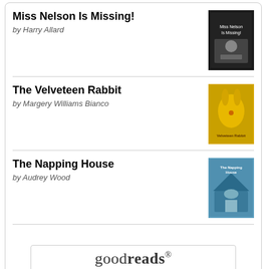Miss Nelson Is Missing! by Harry Allard
The Velveteen Rabbit by Margery Williams Bianco
The Napping House by Audrey Wood
[Figure (logo): Goodreads logo inside a rounded rectangle button]
Website Powered by WordPress.com.